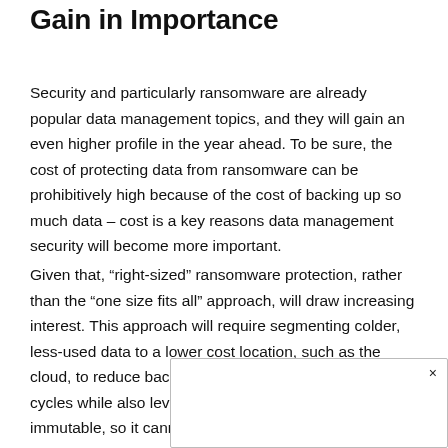Gain in Importance
Security and particularly ransomware are already popular data management topics, and they will gain an even higher profile in the year ahead. To be sure, the cost of protecting data from ransomware can be prohibitively high because of the cost of backing up so much data – cost is a key reasons data management security will become more important.
Given that, “right-sized” ransomware protection, rather than the “one size fits all” approach, will draw increasing interest. This approach will require segmenting colder, less-used data to a lower cost location, such as the cloud, to reduce backup licensing costs and backup cycles while also leveraging capabilities that make data immutable, so it cannot be attacked by ransomware.